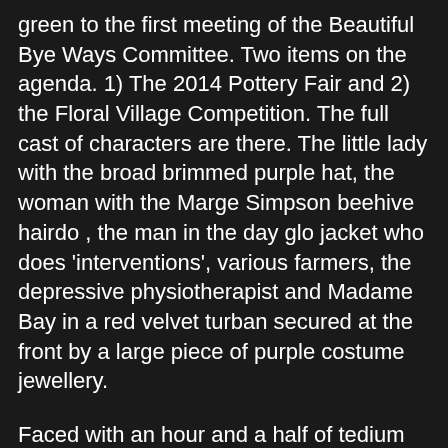green to the first meeting of the Beautiful Bye Ways Committee. Two items on the agenda. 1) The 2014 Pottery Fair and 2) the Floral Village Competition. The full cast of characters are there. The little lady with the broad brimmed purple hat, the woman with the Marge Simpson beehive hairdo , the man in the day glo jacket who does 'interventions', various farmers, the depressive physiotherapist and Madame Bay in a red velvet turban secured at the front by a large piece of purple costume jewellery.
Faced with an hour and a half of tedium most dogs would curl up asleep under a table. Not Sophie. She wanders across the floor of the Salle des Fetes and leaps up onto the small wooden stage . She then turns on her side, settles down and starts snoring. At nine thirty she wakes up, leaps off the platform and wanders back over to 'the font'. This proves to be an excellent time for 'the font' to make excuses and